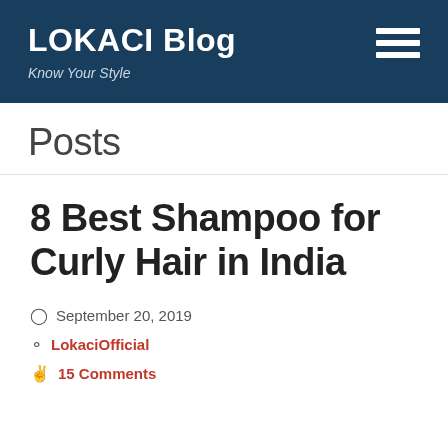LOKACI Blog
Know Your Style
Posts
8 Best Shampoo for Curly Hair in India
September 20, 2019
LokaciOfficial
15 Comments